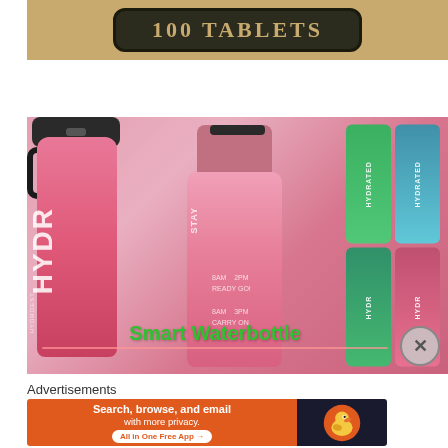[Figure (photo): Product image showing a sign or label reading '100 TABLETS' in gold/cream text on a dark oval badge with a tan/brown background]
[Figure (photo): Product photo showing pink hydration water bottles labeled 'STAY HYDRATED' with time markers (8AM, 2PM, 3PM markings and motivational text 'READY GO', 'CARRY ON'). Also shows green/teal and blue colored bottles on the right side. Overlay text reads 'Smart Waterbottle' in green with a pink underline. An X close button appears in the bottom right.]
Advertisements
[Figure (screenshot): DuckDuckGo advertisement banner: orange section with text 'Search, browse, and email with more privacy. All in One Free App' and dark section with DuckDuckGo duck logo]